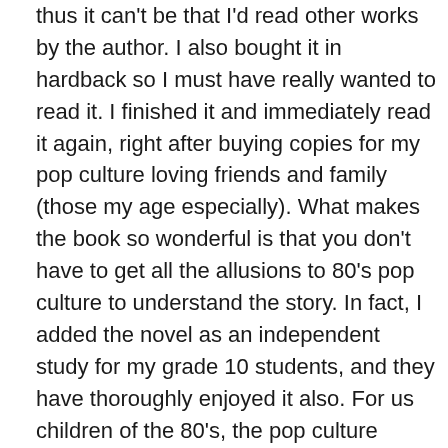thus it can't be that I'd read other works by the author. I also bought it in hardback so I must have really wanted to read it. I finished it and immediately read it again, right after buying copies for my pop culture loving friends and family (those my age especially). What makes the book so wonderful is that you don't have to get all the allusions to 80's pop culture to understand the story. In fact, I added the novel as an independent study for my grade 10 students, and they have thoroughly enjoyed it also. For us children of the 80's, the pop culture references are a delight as you can't help but get a little thrill each time you recognize one. I remembered vividly the scene from War Games and the swallows from Monty Python and the Holy Grail. Joust also features prominently and I couldn't help but remember flying that friggin' ostrich around with a joystick.  If you're interested, the wonderful educational